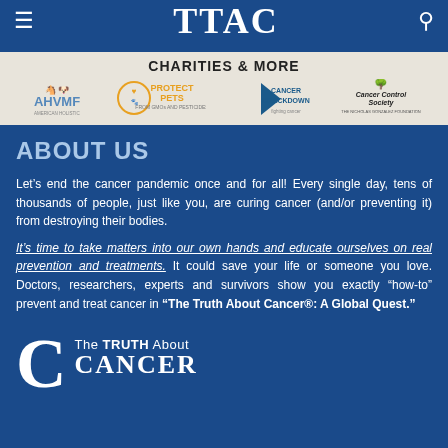TTAC
[Figure (logo): Charities & More banner with logos: AHVMF, Protect Pets from GMOs and Pesticides, Cancer Crackdown, Cancer Control Society / The Nicholas Gonzalez Foundation]
ABOUT US
Let’s end the cancer pandemic once and for all! Every single day, tens of thousands of people, just like you, are curing cancer (and/or preventing it) from destroying their bodies.
It’s time to take matters into our own hands and educate ourselves on real prevention and treatments. It could save your life or someone you love. Doctors, researchers, experts and survivors show you exactly “how-to” prevent and treat cancer in “The Truth About Cancer®: A Global Quest.”
[Figure (logo): The Truth About Cancer logo with large decorative C and text]